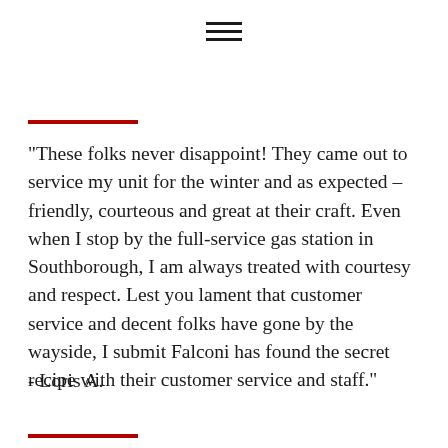[Figure (other): Hamburger menu icon (three horizontal lines)]
"These folks never disappoint! They came out to service my unit for the winter and as expected – friendly, courteous and great at their craft. Even when I stop by the full-service gas station in Southborough, I am always treated with courtesy and respect. Lest you lament that customer service and decent folks have gone by the wayside, I submit Falconi has found the secret recipe with their customer service and staff."
- Loris A.